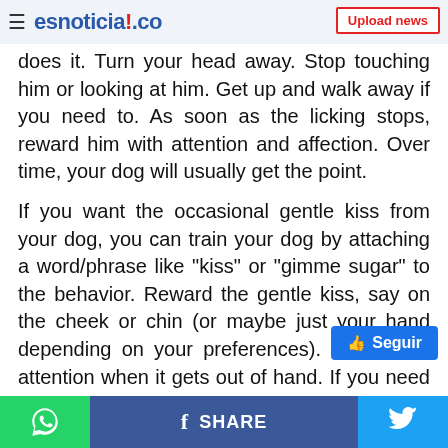esnoticia!.co — Upload news
does it. Turn your head away. Stop touching him or looking at him. Get up and walk away if you need to. As soon as the licking stops, reward him with attention and affection. Over time, your dog will usually get the point.
If you want the occasional gentle kiss from your dog, you can train your dog by attaching a word/phrase like "kiss" or "gimme sugar" to the behavior. Reward the gentle kiss, say on the cheek or chin (or maybe just your hand depending on your preferences). Then deny attention when it gets out of hand. If you need help with this and other training, consider hiring a dog trainer.
Although it's rare, dogs can actually s…n obsessive compulsive disorder, often brought on by
SHARE